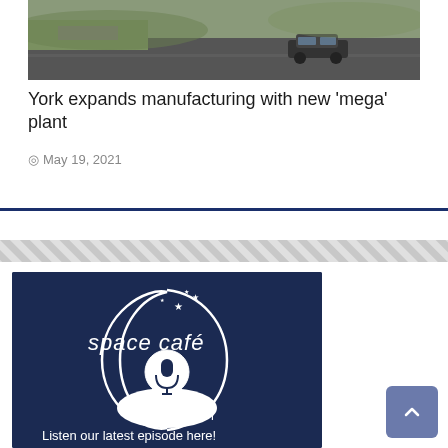[Figure (photo): Aerial or elevated view of a road with a dark car driving on it, with green and purple vegetation on the roadside]
York expands manufacturing with new ‘mega’ plant
© May 19, 2021
[Figure (logo): Space Café Podcast logo on dark navy background with crescent moon, stars, and podcast icon. Text reads 'space café PODCAST' and 'Listen our latest episode here!']